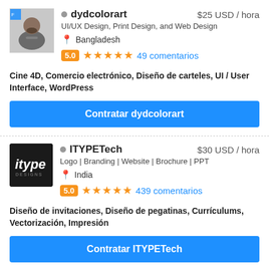[Figure (photo): Profile photo of dydcolorart user, person in grey shirt]
dydcolorart   $25 USD / hora
UI/UX Design, Print Design, and Web Design
Bangladesh
5.0  ★★★★★  49 comentarios
Cine 4D, Comercio electrónico, Diseño de carteles, UI / User Interface, WordPress
Contratar dydcolorart
[Figure (logo): iTYPE Designs logo — black square with white italic 'itype' text and 'DESIGNS' below]
ITYPETech   $30 USD / hora
Logo | Branding | Website | Brochure | PPT
India
5.0  ★★★★★  439 comentarios
Diseño de invitaciones, Diseño de pegatinas, Currículums, Vectorización, Impresión
Contratar ITYPETech